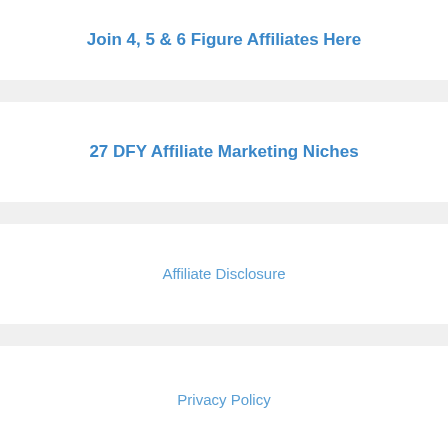Join 4, 5 & 6 Figure Affiliates Here
27 DFY Affiliate Marketing Niches
Affiliate Disclosure
Privacy Policy